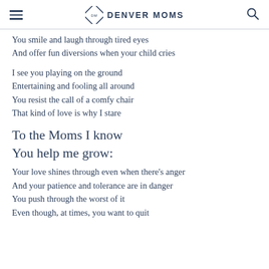Denver Moms
You smile and laugh through tired eyes
And offer fun diversions when your child cries
I see you playing on the ground
Entertaining and fooling all around
You resist the call of a comfy chair
That kind of love is why I stare
To the Moms I know
You help me grow:
Your love shines through even when there's anger
And your patience and tolerance are in danger
You push through the worst of it
Even though, at times, you want to quit